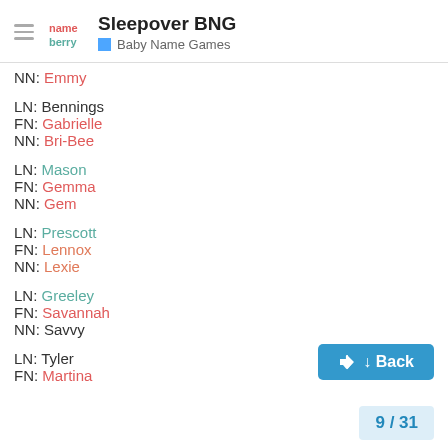Sleepover BNG — Baby Name Games
NN: Emmy
LN: Bennings
FN: Gabrielle
NN: Bri-Bee
LN: Mason
FN: Gemma
NN: Gem
LN: Prescott
FN: Lennox
NN: Lexie
LN: Greeley
FN: Savannah
NN: Savvy
LN: Tyler
FN: Martina